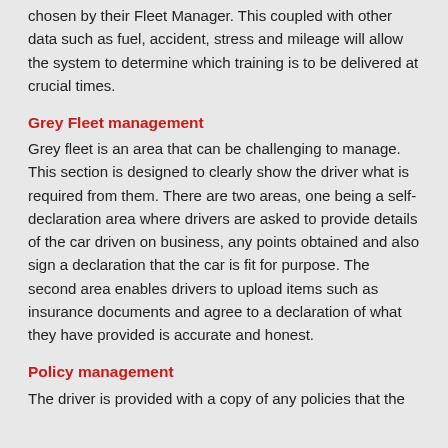chosen by their Fleet Manager. This coupled with other data such as fuel, accident, stress and mileage will allow the system to determine which training is to be delivered at crucial times.
Grey Fleet management
Grey fleet is an area that can be challenging to manage. This section is designed to clearly show the driver what is required from them. There are two areas, one being a self-declaration area where drivers are asked to provide details of the car driven on business, any points obtained and also sign a declaration that the car is fit for purpose. The second area enables drivers to upload items such as insurance documents and agree to a declaration of what they have provided is accurate and honest.
Policy management
The driver is provided with a copy of any policies that the